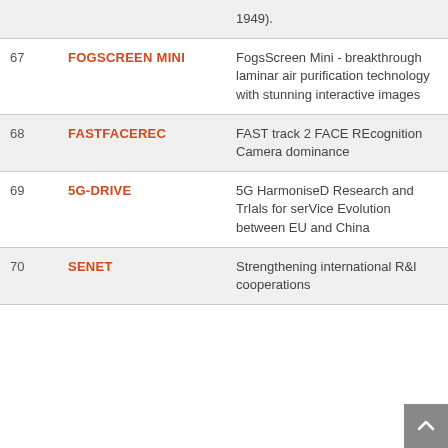| # | Project | Description |
| --- | --- | --- |
|  |  | 1949). |
| 67 | FOGSCREEN MINI | FogsScreen Mini - breakthrough laminar air purification technology with stunning interactive images |
| 68 | FASTFACEREC | FAST track 2 FACE REcognition Camera dominance |
| 69 | 5G-DRIVE | 5G HarmoniseD Research and TrIals for serVice Evolution between EU and China |
| 70 | SENET | Strengthening international R&I cooperations |